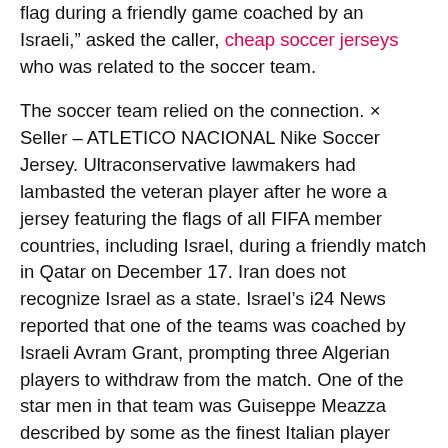flag during a friendly game coached by an Israeli," asked the caller, cheap soccer jerseys who was related to the soccer team.
The soccer team relied on the connection. × Seller – ATLETICO NACIONAL Nike Soccer Jersey. Ultraconservative lawmakers had lambasted the veteran player after he wore a jersey featuring the flags of all FIFA member countries, including Israel, during a friendly match in Qatar on December 17. Iran does not recognize Israel as a state. Israel's i24 News reported that one of the teams was coached by Israeli Avram Grant, prompting three Algerian players to withdraw from the match. One of the star men in that team was Guiseppe Meazza described by some as the finest Italian player ever and after whom the San Siro stadium in Milan is named. He was named coach of Iran's under-23 team in July. Seeing a team out in the field in their colors is enough to make anyone excited. Has enough practice before the season begins. The 2019-20 season was the final year of the Fitbit partnership. The Colts opened